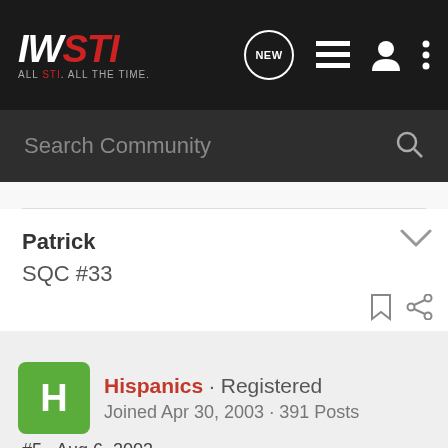IWSTI · ALL STI. ALL THE TIME.
Search Community
Patrick
SQC #33
Hispanics · Registered
Joined Apr 30, 2003 · 391 Posts
#5 · Aug 6, 2003